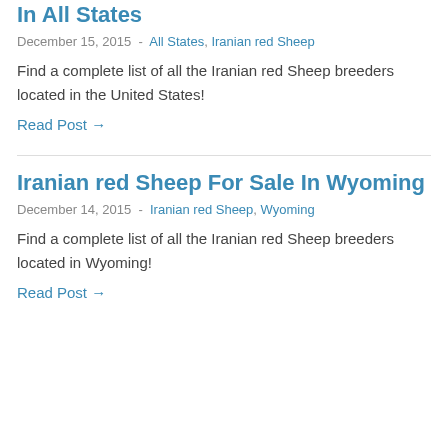In All States
December 15, 2015  -  All States, Iranian red Sheep
Find a complete list of all the Iranian red Sheep breeders located in the United States!
Read Post →
Iranian red Sheep For Sale In Wyoming
December 14, 2015  -  Iranian red Sheep, Wyoming
Find a complete list of all the Iranian red Sheep breeders located in Wyoming!
Read Post →